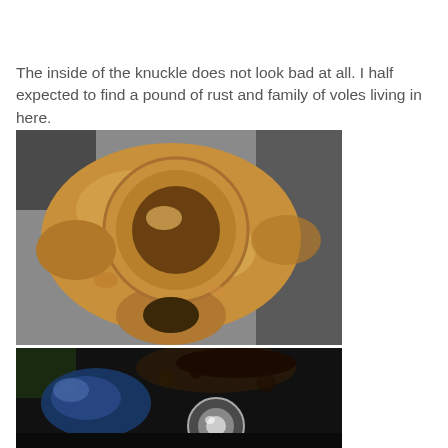The inside of the knuckle does not look bad at all.  I half expected to find a pound of rust and family of voles living in here.
[Figure (photo): Close-up photo of the inside of a steering knuckle with a circular bearing race, coated in golden/bronze colored grease or lubricant, sitting on a concrete surface.]
[Figure (photo): Close-up photo of the interior of a dark, cylindrical automotive component, possibly showing rust or grime inside, with a metallic circular element visible.]